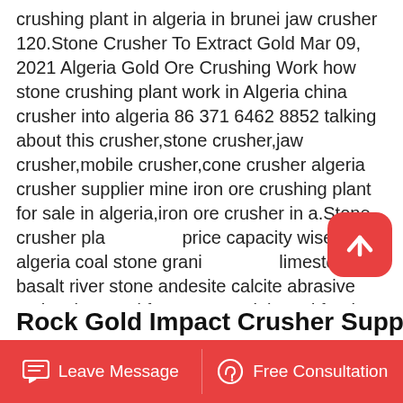crushing plant in algeria in brunei jaw crusher 120.Stone Crusher To Extract Gold Mar 09, 2021 Algeria Gold Ore Crushing Work how stone crushing plant work in Algeria china crusher into algeria 86 371 6462 8852 talking about this crusher,stone crusher,jaw crusher,mobile crusher,cone crusher algeria crusher supplier mine iron ore crushing plant for sale in algeria,iron ore crusher in a.Stone crusher plant price capacity wise in algeria coal stone granite limestone basalt river stone andesite calcite abrasive rocks glass and ferrous material used for the crushing crusher plant stone crusher plant will available from 50 tph to 600 tph ton stone crushers plant cost price in algeria. .
Rock Gold Impact Crusher Supplier